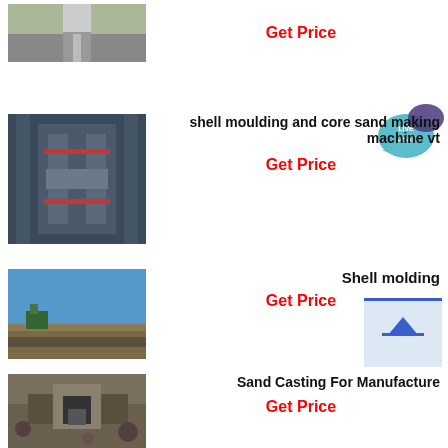[Figure (photo): Aerial view of an industrial facility with a wide road]
Get Price
[Figure (photo): Large industrial sand making or moulding machine in a factory]
shell moulding and core sand making machine vt
Get Price
[Figure (photo): Open quarry or mining site with blue sky]
Shell molding
Get Price
[Figure (photo): Mining or quarry site with heavy equipment and rocky terrain]
Sand Casting For Manufacture
Get Price